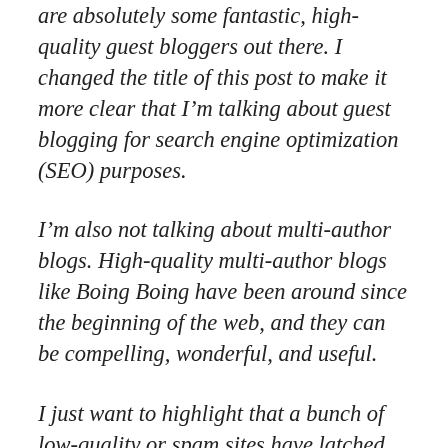are absolutely some fantastic, high-quality guest bloggers out there. I changed the title of this post to make it more clear that I'm talking about guest blogging for search engine optimization (SEO) purposes.
I'm also not talking about multi-author blogs. High-quality multi-author blogs like Boing Boing have been around since the beginning of the web, and they can be compelling, wonderful, and useful.
I just want to highlight that a bunch of low-quality or spam sites have latched on to